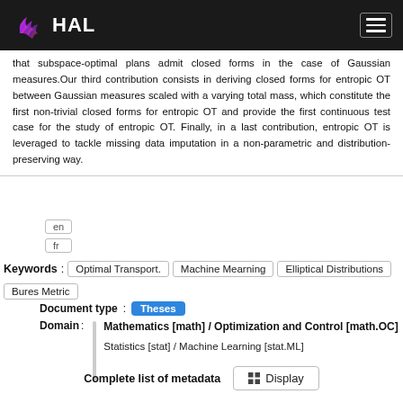HAL
that subspace-optimal plans admit closed forms in the case of Gaussian measures.Our third contribution consists in deriving closed forms for entropic OT between Gaussian measures scaled with a varying total mass, which constitute the first non-trivial closed forms for entropic OT and provide the first continuous test case for the study of entropic OT. Finally, in a last contribution, entropic OT is leveraged to tackle missing data imputation in a non-parametric and distribution-preserving way.
en
fr
Keywords : Optimal Transport. Machine Mearning Elliptical Distributions Bures Metric
Document type : Theses
Domain : Mathematics [math] / Optimization and Control [math.OC]
Statistics [stat] / Machine Learning [stat.ML]
Complete list of metadata  Display